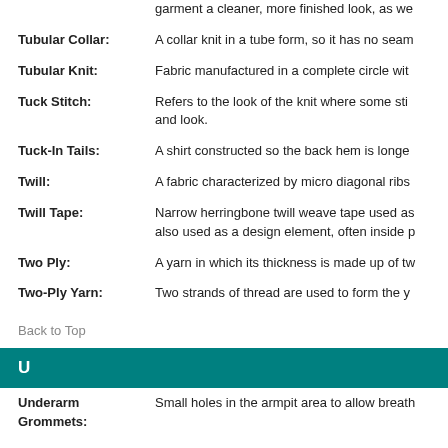garment a cleaner, more finished look, as we…
Tubular Collar: A collar knit in a tube form, so it has no seam…
Tubular Knit: Fabric manufactured in a complete circle wit…
Tuck Stitch: Refers to the look of the knit where some sti… and look.
Tuck-In Tails: A shirt constructed so the back hem is longe…
Twill: A fabric characterized by micro diagonal ribs…
Twill Tape: Narrow herringbone twill weave tape used as… also used as a design element, often inside p…
Two Ply: A yarn in which its thickness is made up of tw…
Two-Ply Yarn: Two strands of thread are used to form the y…
Back to Top
U
Underarm Grommets: Small holes in the armpit area to allow breath…
Unstructured: A headwear term referring to a low profile…